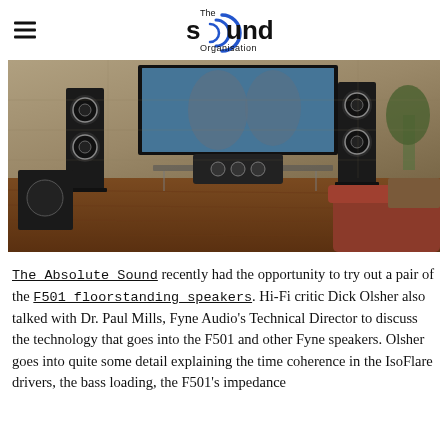The Sound Organisation
[Figure (photo): A home theater room with black Fyne Audio floorstanding speakers, a center channel speaker on a glass TV stand, a subwoofer, a large wall-mounted TV/artwork showing horses, stone wall, hardwood floor, and a brown leather sofa.]
The Absolute Sound recently had the opportunity to try out a pair of the F501 floorstanding speakers. Hi-Fi critic Dick Olsher also talked with Dr. Paul Mills, Fyne Audio's Technical Director to discuss the technology that goes into the F501 and other Fyne speakers. Olsher goes into quite some detail explaining the time coherence in the IsoFlare drivers, the bass loading, the F501's impedance